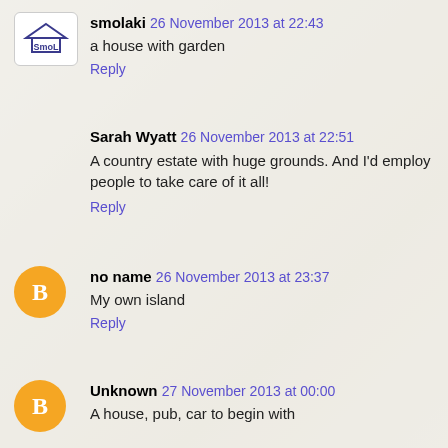smolaki  26 November 2013 at 22:43
a house with garden
Reply
Sarah Wyatt  26 November 2013 at 22:51
A country estate with huge grounds. And I'd employ people to take care of it all!
Reply
no name  26 November 2013 at 23:37
My own island
Reply
Unknown  27 November 2013 at 00:00
A house, pub, car to begin with
Reply